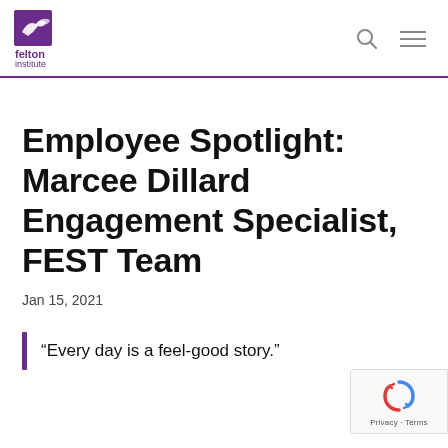Felton Institute
Employee Spotlight: Marcee Dillard Engagement Specialist, FEST Team
Jan 15, 2021
“Every day is a feel-good story.”